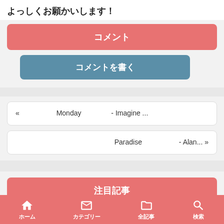よっしくお願かいします！
コメント
コメントを書く
« □□□□□□Monday□□□□□ - Imagine ...
□□□□□□Paradise□□□□□□ - Alan... »
注目記事
□□□□□□Pink Venom□□□□□□□□ - BLACKPINK□□□□□□□□
ホーム　カテゴリー　全記事　検索